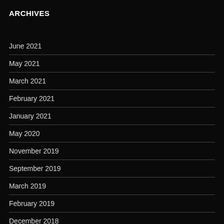ARCHIVES
June 2021
May 2021
March 2021
February 2021
January 2021
May 2020
November 2019
September 2019
March 2019
February 2019
December 2018